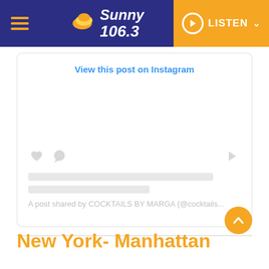Sunny 106.3 — LISTEN
[Figure (screenshot): Embedded Instagram post card with 'View this post on Instagram' link, placeholder icons and content lines, and attribution text: 'A post shared by COCKTAILS BY MARGA (@cocktails...']
New York- Manhattan